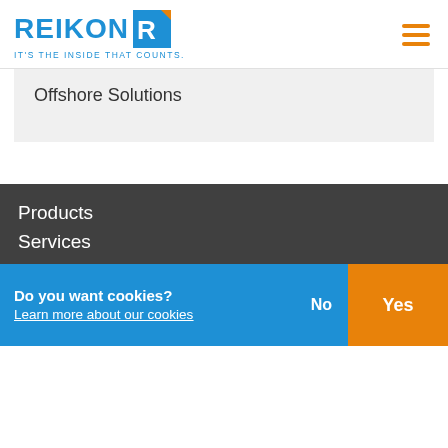[Figure (logo): Reikon logo with blue REIKON text, orange R icon, and tagline IT'S THE INSIDE THAT COUNTS.]
[Figure (other): Hamburger menu icon with three orange horizontal lines]
Offshore Solutions
Products
Services
Projecten
Contact
Reikon BV
Do you want cookies?
Learn more about our cookies
No
Yes